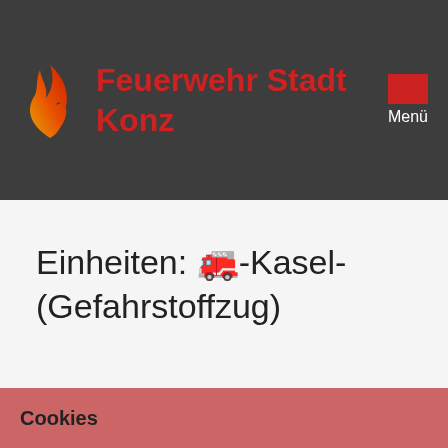Feuerwehr Stadt Konz  Menü
Einheiten: 🚒-Kasel-(Gefahrstoffzug)
Cookies